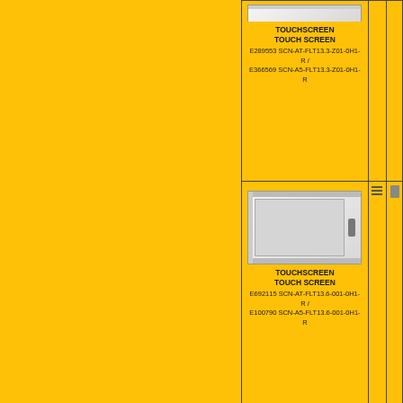[Figure (photo): Touchscreen device product photo - top entry (partially visible at top)]
TOUCHSCREEN TOUCH SCREEN E289553 SCN-AT-FLT13.3-Z01-0H1-R / E366569 SCN-A5-FLT13.3-Z01-0H1-R
[Figure (photo): Touchscreen device product photo - second entry, rectangular touchscreen panel]
TOUCHSCREEN TOUCH SCREEN E692115 SCN-AT-FLT13.6-001-0H1-R / E100790 SCN-A5-FLT13.6-001-0H1-R